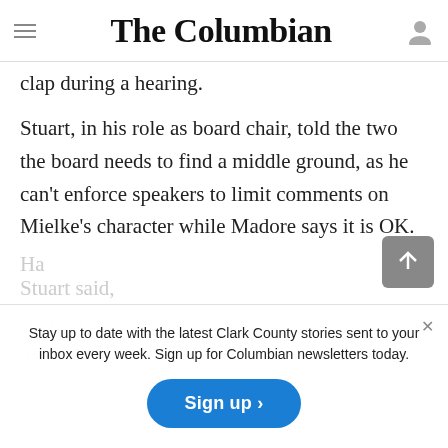The Columbian
acceptable, such as time limits on public comment or banning people who boo or clap during a hearing.
Stuart, in his role as board chair, told the two the board needs to find a middle ground, as he can't enforce speakers to limit comments on Mielke's character while Madore says it is OK.
Stuart said, "I've ca... considering that happen."
Stay up to date with the latest Clark County stories sent to your inbox every week. Sign up for Columbian newsletters today.